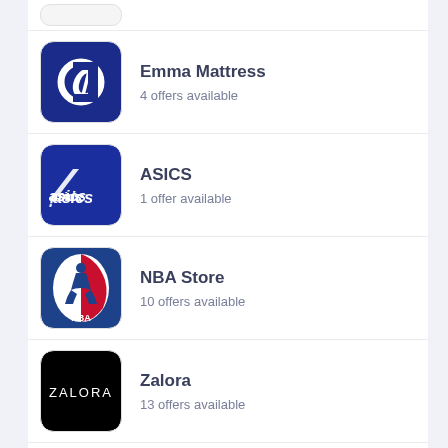[Figure (logo): Emma Mattress logo - white C on dark blue background]
Emma Mattress
4 offers available
[Figure (logo): ASICS logo - white asics text with stripe on dark blue background]
ASICS
1 offer available
[Figure (logo): NBA Store logo - NBA basketball player silhouette in red/white on blue background]
NBA Store
10 offers available
[Figure (logo): Zalora logo - white ZALORA text on black background]
Zalora
13 offers available
[Figure (logo): Lazada logo - heart shape in orange/pink/red gradient with Lazada text]
Lazada
3 offers available
[Figure (logo): ZARA logo - partial, cut off at bottom]
ZARA